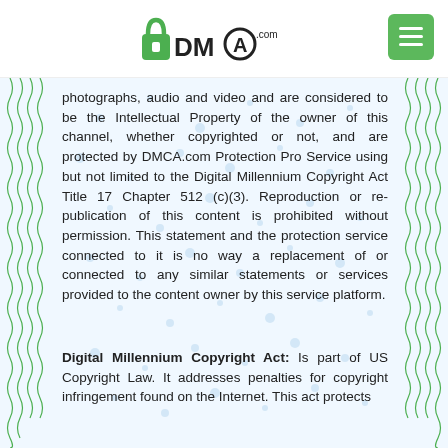[Figure (logo): DMCA.com logo with padlock icon and circular copyright symbol]
[Figure (other): Green rounded rectangle menu button with three white horizontal lines]
photographs, audio and video and are considered to be the Intellectual Property of the owner of this channel, whether copyrighted or not, and are protected by DMCA.com Protection Pro Service using but not limited to the Digital Millennium Copyright Act Title 17 Chapter 512 (c)(3). Reproduction or re-publication of this content is prohibited without permission. This statement and the protection service connected to it is no way a replacement of or connected to any similar statements or services provided to the content owner by this service platform.
Digital Millennium Copyright Act: Is part of US Copyright Law. It addresses penalties for copyright infringement found on the Internet. This act protects